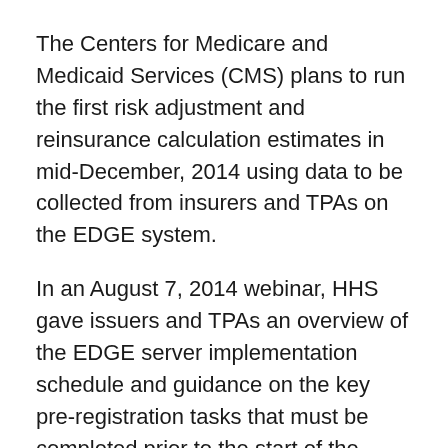The Centers for Medicare and Medicaid Services (CMS) plans to run the first risk adjustment and reinsurance calculation estimates in mid-December, 2014 using data to be collected from insurers and TPAs on the EDGE system.
In an August 7, 2014 webinar, HHS gave issuers and TPAs an overview of the EDGE server implementation schedule and guidance on the key pre-registration tasks that must be completed prior to the start of the EDGE server registration process scheduled to begin on September 27, 2014.
HHS warned issuers and TPAs must be ready to start the EDGE registration process on September 27, 2014 in order to have sufficient time to set-up their servers and test their data submissions prior to the mid-December estimate calculations.